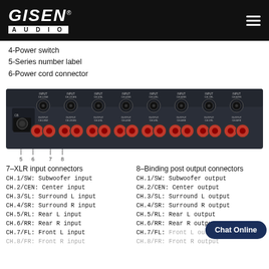[Figure (logo): GISEN AUDIO logo in white on black header bar, with hamburger menu icon on the right]
4-Power switch
5-Series number label
6-Power cord connector
[Figure (photo): Rear panel of GISEN AUDIO multi-channel amplifier showing XLR input connectors (labeled INPUT CH.1/SW through CH.8/FR) and binding post output connectors (labeled OUTPUT CH.1/SW through CH.8/FR) with callout numbers 5, 6, 7, 8]
7-XLR input connectors
CH.1/SW:  Subwoofer input
CH.2/CEN: Center input
CH.3/SL:  Surround L input
CH.4/SR:  Surround R input
CH.5/RL:  Rear L input
CH.6/RR:  Rear R input
CH.7/FL:  Front L input
CH.8/FR:  Front R input
8-Binding post output connectors
CH.1/SW: Subwoofer output
CH.2/CEN: Center output
CH.3/SL: Surround L output
CH.4/SR: Surround R output
CH.5/RL: Rear L output
CH.6/RR: Rear R output
CH.7/FL: Front L output
CH.8/FR: Front R output